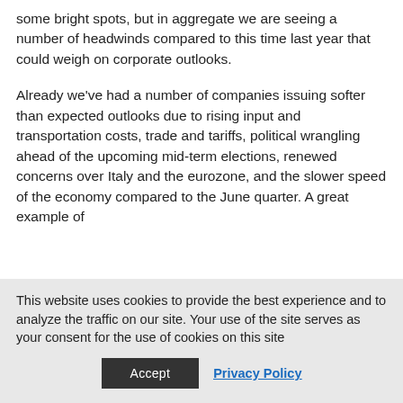some bright spots, but in aggregate we are seeing a number of headwinds compared to this time last year that could weigh on corporate outlooks.
Already we've had a number of companies issuing softer than expected outlooks due to rising input and transportation costs, trade and tariffs, political wrangling ahead of the upcoming mid-term elections, renewed concerns over Italy and the eurozone, and the slower speed of the economy compared to the June quarter. A great example of
This website uses cookies to provide the best experience and to analyze the traffic on our site. Your use of the site serves as your consent for the use of cookies on this site